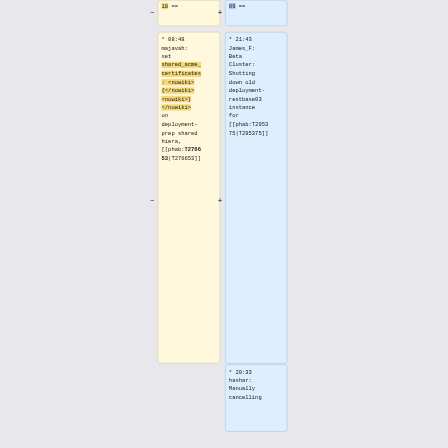18 ==
09 ==
* 08:48 majavah: set shared_acme_certificates: <nowiki>{</nowiki><nowiki>}</nowiki> on deployment-prep shared hiera, [[phab:T276653|T276653]]
* 21:43 James_F: Beta Cluster: Shutting down old deployment-restbase03 instance for [[phab:T295375|T295375]]
* 20:33 hashar: Manually cancelling